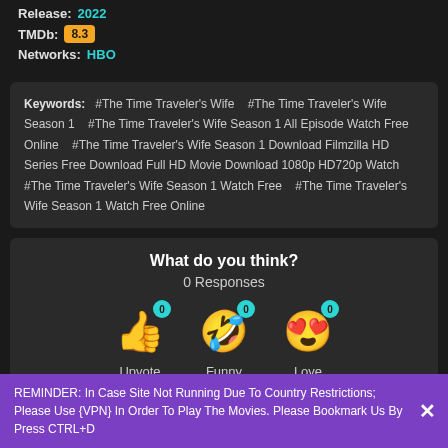Release: 2022
TMDb: 8.3
Networks: HBO
Keywords: #The Time Traveler's Wife  #The Time Traveler's Wife Season 1  #The Time Traveler's Wife Season 1 All Episode Watch Free Online  #The Time Traveler's Wife Season 1 Download Filmzilla HD Series Free Download Full HD Movie Download 1080p HD720p Watch  #The Time Traveler's Wife Season 1 Watch Free   #The Time Traveler's Wife Season 1 Watch Free Online
What do you think?
0 Responses
[Figure (infographic): Three emoji reaction buttons: Upvote (thumbs up emoji with 0 badge), Funny (laughing emoji with 0 badge), Love (heart-eyes emoji with 0 badge), each showing 0 count]
REMINDER: In Case Site Not Running Due To Country Restrictions; Please Use {VPN} In Order To Play The Movies. Please Bookmark Us By Press CTRL+D